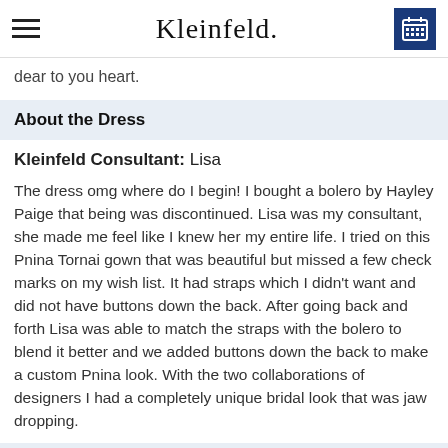Kleinfeld.
dear to you heart.
About the Dress
Kleinfeld Consultant: Lisa
The dress omg where do I begin! I bought a bolero by Hayley Paige that being was discontinued.  Lisa was my consultant, she made me feel like I knew her my entire life. I tried on this Pnina Tornai gown that was beautiful but missed a few check marks on my wish list. It had straps which I didn't want and did not have buttons down the back. After going back and forth Lisa was able to match the straps with the bolero to blend it better and we added buttons down the back to make a custom Pnina look. With the two collaborations of designers I had a completely unique bridal look that was jaw dropping.
About the Wedding
Married: